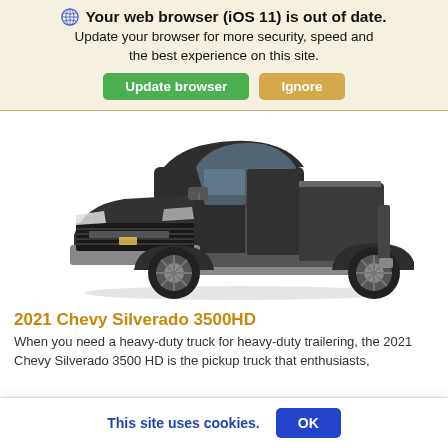🌐 Your web browser (iOS 11) is out of date. Update your browser for more security, speed and the best experience on this site.
Update browser | Ignore
[Figure (photo): Photo of a dark grey 2021 Chevy Silverado 3500HD pickup truck, front 3/4 view on white background]
2021 Chevy Silverado 3500HD
When you need a heavy-duty truck for heavy-duty trailering, the 2021 Chevy Silverado 3500 HD is the pickup truck that enthusiasts,
This site uses cookies. OK